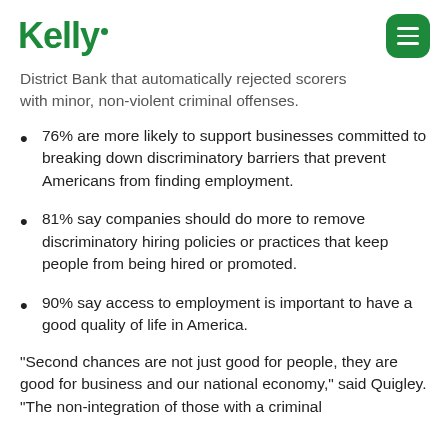Kelly
District Bank that automatically rejected scorers with minor, non-violent criminal offenses.
76% are more likely to support businesses committed to breaking down discriminatory barriers that prevent Americans from finding employment.
81% say companies should do more to remove discriminatory hiring policies or practices that keep people from being hired or promoted.
90% say access to employment is important to have a good quality of life in America.
"Second chances are not just good for people, they are good for business and our national economy," said Quigley. "The non-integration of those with a criminal